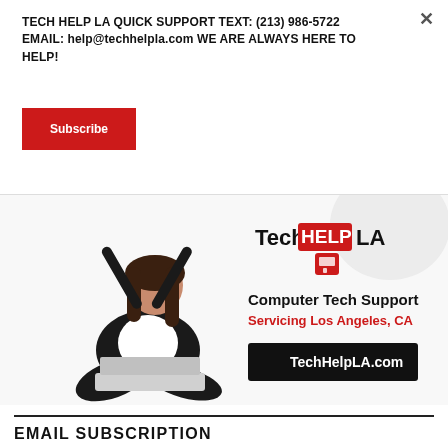TECH HELP LA QUICK SUPPORT TEXT: (213) 986-5722 EMAIL: help@techhelpla.com WE ARE ALWAYS HERE TO HELP!
Subscribe
[Figure (illustration): TechHELP LA advertisement banner showing a woman sitting cross-legged with a laptop and arms raised, with text 'Computer Tech Support Servicing Los Angeles, CA' and 'TechHelpLA.com']
EMAIL SUBSCRIPTION